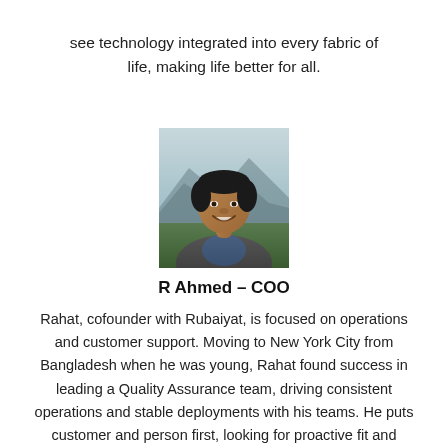see technology integrated into every fabric of life, making life better for all.
[Figure (photo): Headshot of R Ahmed, COO, a man smiling outdoors with mountains and greenery in the background]
R Ahmed – COO
Rahat, cofounder with Rubaiyat, is focused on operations and customer support. Moving to New York City from Bangladesh when he was young, Rahat found success in leading a Quality Assurance team, driving consistent operations and stable deployments with his teams. He puts customer and person first, looking for proactive fit and creative problem solving with